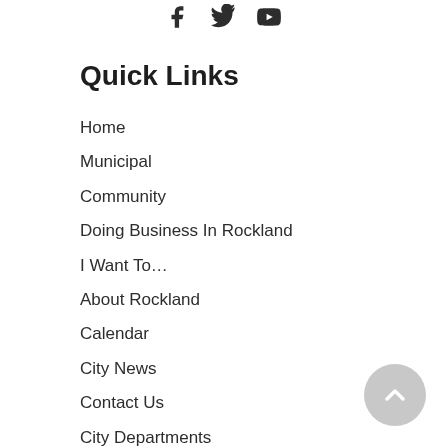[Figure (other): Social media icons: Facebook, Twitter, YouTube]
Quick Links
Home
Municipal
Community
Doing Business In Rockland
I Want To…
About Rockland
Calendar
City News
Contact Us
City Departments
Boards & Committees
Go to My Rockland